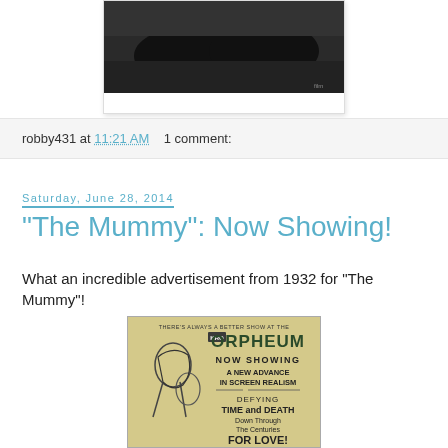[Figure (photo): Black and white photograph partially visible at top of page, shown inside a white-bordered card/frame]
robby431 at 11:21 AM   1 comment:
Saturday, June 28, 2014
"The Mummy": Now Showing!
What an incredible advertisement from 1932 for "The Mummy"!
[Figure (photo): 1932 newspaper advertisement for The Mummy at the Orpheum theatre. Text reads: THERE'S ALWAYS A BETTER SHOW AT THE KRO ORPHEUM / NOW SHOWING / A NEW ADVANCE IN SCREEN REALISM / DEFYING TIME and DEATH Down Through The Centuries FOR LOVE! with illustrated mummy figure on left side.]